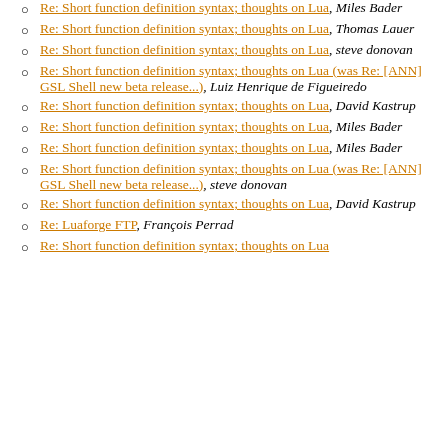Re: Short function definition syntax; thoughts on Lua, Miles Bader
Re: Short function definition syntax; thoughts on Lua, Thomas Lauer
Re: Short function definition syntax; thoughts on Lua, steve donovan
Re: Short function definition syntax; thoughts on Lua (was Re: [ANN] GSL Shell new beta release...), Luiz Henrique de Figueiredo
Re: Short function definition syntax; thoughts on Lua, David Kastrup
Re: Short function definition syntax; thoughts on Lua, Miles Bader
Re: Short function definition syntax; thoughts on Lua, Miles Bader
Re: Short function definition syntax; thoughts on Lua (was Re: [ANN] GSL Shell new beta release...), steve donovan
Re: Short function definition syntax; thoughts on Lua, David Kastrup
Re: Luaforge FTP, François Perrad
Re: Short function definition syntax; thoughts on Lua